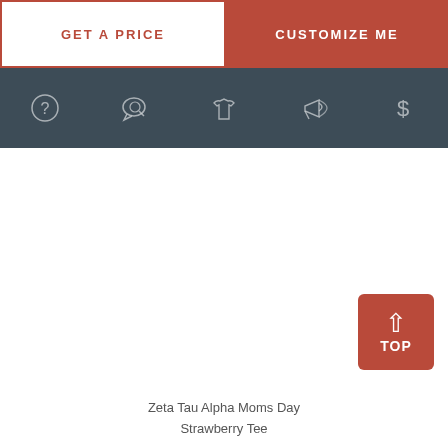[Figure (screenshot): Two buttons side by side: 'GET A PRICE' (white background, red border and text) and 'CUSTOMIZE ME' (red background, white text)]
[Figure (screenshot): Dark gray navigation bar with 5 icon symbols: question mark circle, speech bubble with magnifier, t-shirt, megaphone/horn, dollar sign]
[Figure (screenshot): Dark red 'TOP' button with upward arrow in bottom-right corner of white content area]
Zeta Tau Alpha Moms Day Strawberry Tee